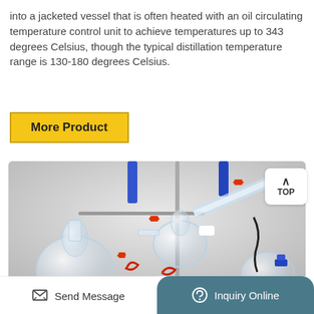into a jacketed vessel that is often heated with an oil circulating temperature control unit to achieve temperatures up to 343 degrees Celsius, though the typical distillation temperature range is 130-180 degrees Celsius.
More Product
[Figure (photo): Close-up photograph of a laboratory short-path distillation apparatus showing multiple glass flasks, round-bottom flasks, red clips/clamps, glass tubing condenser, metal support stand, blue clamps, and various fittings assembled together on a white/grey background.]
Send Message   Inquiry Online